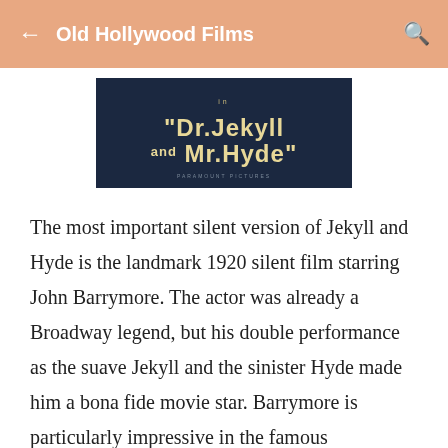Old Hollywood Films
[Figure (photo): Movie title card for 'Dr. Jekyll and Mr. Hyde' — white stylized text on a dark navy background]
The most important silent version of Jekyll and Hyde is the landmark 1920 silent film starring John Barrymore. The actor was already a Broadway legend, but his double performance as the suave Jekyll and the sinister Hyde made him a bona fide movie star. Barrymore is particularly impressive in the famous transformation scene, which he accomplished in two takes with minimal makeup. In fact, this movie set the template for